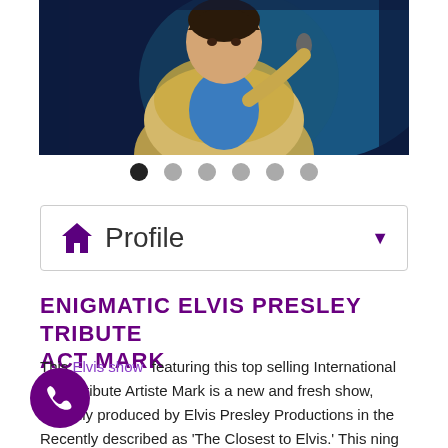[Figure (photo): Photo of Elvis Presley tribute performer in sparkly gold/white jacket holding a microphone, blue background stage lighting]
[Figure (other): Carousel navigation dots — one black (active) and five grey (inactive)]
Profile
ENIGMATIC ELVIS PRESLEY TRIBUTE ACT MARK
This Elvis show featuring this top selling International Elvis Tribute Artiste Mark is a new and fresh show, officially produced by Elvis Presley Productions in the Recently described as 'The Closest to Elvis.' This ning impersonator has toured the world performing his Elvis Presley tribute show, appearing on